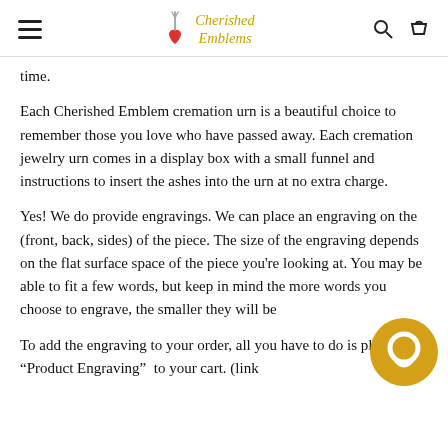Cherished Emblems
time.
Each Cherished Emblem cremation urn is a beautiful choice to remember those you love who have passed away. Each cremation jewelry urn comes in a display box with a small funnel and instructions to insert the ashes into the urn at no extra charge.
Yes! We do provide engravings. We can place an engraving on the (front, back, sides) of the piece. The size of the engraving depends on the flat surface space of the piece you're looking at. You may be able to fit a few words, but keep in mind the more words you choose to engrave, the smaller they will be
To add the engraving to your order, all you have to do is place the “Product Engraving”  to your cart. (link